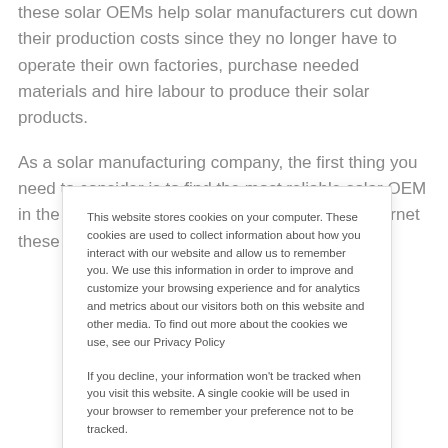these solar OEMs help solar manufacturers cut down their production costs since they no longer have to operate their own factories, purchase needed materials and hire labour to produce their solar products.
As a solar manufacturing company, the first thing you need to consider is to find the most reliable solar OEM in the market. One of the biggest perks of the internet these
This website stores cookies on your computer. These cookies are used to collect information about how you interact with our website and allow us to remember you. We use this information in order to improve and customize your browsing experience and for analytics and metrics about our visitors both on this website and other media. To find out more about the cookies we use, see our Privacy Policy
If you decline, your information won't be tracked when you visit this website. A single cookie will be used in your browser to remember your preference not to be tracked.